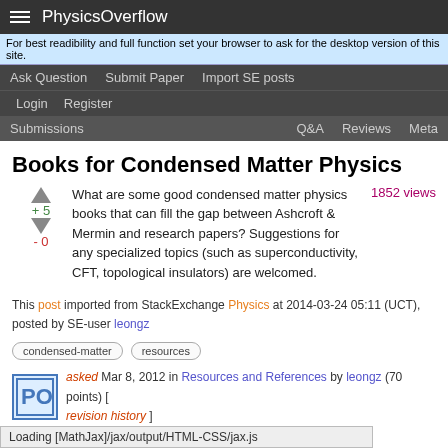PhysicsOverflow
For best readibility and full function set your browser to ask for the desktop version of this site.
Ask Question  Submit Paper  Import SE posts
Login  Register
Submissions  Q&A  Reviews  Meta
Books for Condensed Matter Physics
What are some good condensed matter physics books that can fill the gap between Ashcroft & Mermin and research papers? Suggestions for any specialized topics (such as superconductivity, CFT, topological insulators) are welcomed.
1852 views
This post imported from StackExchange Physics at 2014-03-24 05:11 (UCT), posted by SE-user leongz
condensed-matter
resources
asked Mar 8, 2012 in Resources and References by leongz (70 points) [ revision history ]
Loading [MathJax]/jax/output/HTML-CSS/jax.js